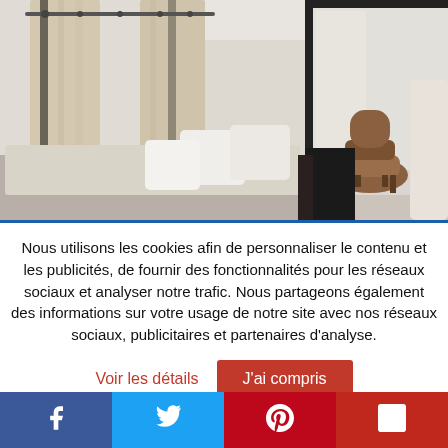[Figure (photo): Interior bedroom photo with white walls, beige curtains, white pillows on a bed, a brown/tan chair, and a large black-framed mirror or partition on the right side.]
Nous utilisons les cookies afin de personnaliser le contenu et les publicités, de fournir des fonctionnalités pour les réseaux sociaux et analyser notre trafic. Nous partageons également des informations sur votre usage de notre site avec nos réseaux sociaux, publicitaires et partenaires d'analyse.
Voir les détails
J'ai compris
Facebook | Twitter | Pinterest | Flipboard